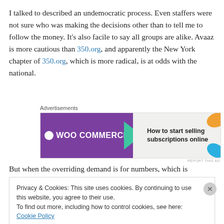I talked to described an undemocratic process. Even staffers were not sure who was making the decisions other than to tell me to follow the money. It's also facile to say all groups are alike. Avaaz is more cautious than 350.org, and apparently the New York chapter of 350.org, which is more radical, is at odds with the national.
[Figure (other): WooCommerce advertisement banner: 'How to start selling subscriptions online']
But when the overriding demand is for numbers, which is
Privacy & Cookies: This site uses cookies. By continuing to use this website, you agree to their use.
To find out more, including how to control cookies, see here: Cookie Policy